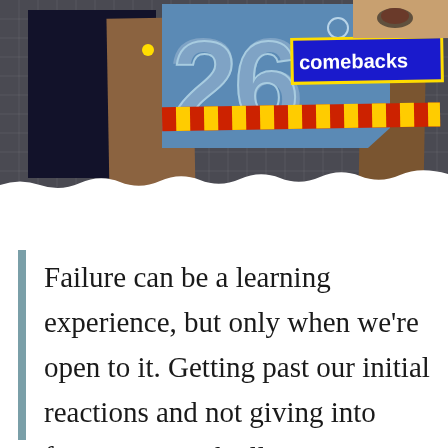[Figure (photo): A collage image on a dark grid background featuring the number 26 in large translucent text on a blue panel, a 'comebacks' banner in blue with yellow border, red and yellow striped bar, dark panel on left, brown cardboard pieces, partial face/eye visible top right, and a torn paper effect at the bottom.]
Failure can be a learning experience, but only when we're open to it. Getting past our initial reactions and not giving into fear's 1-2 punch allows us to